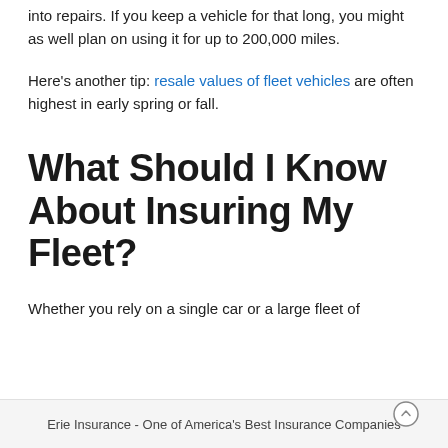into repairs. If you keep a vehicle for that long, you might as well plan on using it for up to 200,000 miles.
Here's another tip: resale values of fleet vehicles are often highest in early spring or fall.
What Should I Know About Insuring My Fleet?
Whether you rely on a single car or a large fleet of
Erie Insurance - One of America's Best Insurance Companies